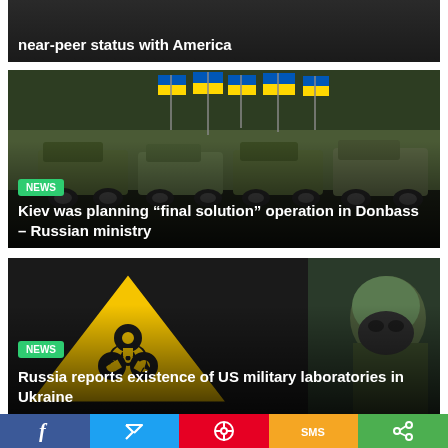[Figure (photo): Partial news card with dark background showing text about near-peer status with America]
near-peer status with America
[Figure (photo): Military vehicles with Ukrainian flags in background, soldiers visible]
NEWS
Kiev was planning “final solution” operation in Donbass – Russian ministry
[Figure (photo): Biohazard warning sign (yellow triangle with black biohazard symbol) and a person in green medical mask/protective gear]
NEWS
Russia reports existence of US military laboratories in Ukraine